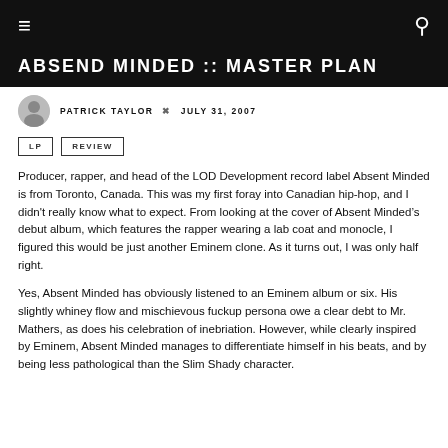ABSEND MINDED :: MASTER PLAN
PATRICK TAYLOR  ✕  JULY 31, 2007
LP
REVIEW
Producer, rapper, and head of the LOD Development record label Absent Minded is from Toronto, Canada. This was my first foray into Canadian hip-hop, and I didn't really know what to expect. From looking at the cover of Absent Minded’s debut album, which features the rapper wearing a lab coat and monocle, I figured this would be just another Eminem clone. As it turns out, I was only half right.
Yes, Absent Minded has obviously listened to an Eminem album or six. His slightly whiney flow and mischievous fuckup persona owe a clear debt to Mr. Mathers, as does his celebration of inebriation. However, while clearly inspired by Eminem, Absent Minded manages to differentiate himself in his beats, and by being less pathological than the Slim Shady character.